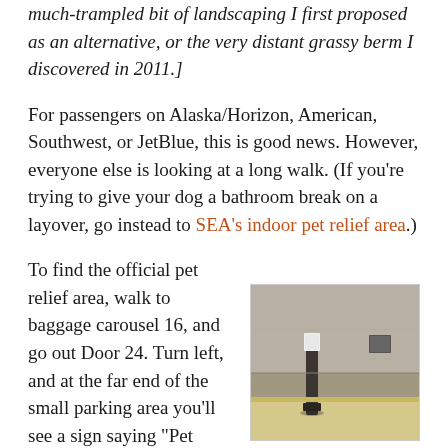much-trampled bit of landscaping I first proposed as an alternative, or the very distant grassy berm I discovered in 2011.]
For passengers on Alaska/Horizon, American, Southwest, or JetBlue, this is good news. However, everyone else is looking at a long walk. (If you're trying to give your dog a bathroom break on a layover, go instead to SEA's indoor pet relief area.)
To find the official pet relief area, walk to baggage carousel 16, and go out Door 24. Turn left, and at the far end of the small parking area you'll see a sign saying "Pet Area." For a brief, happy
[Figure (photo): Photograph of a concrete wall area with a bollard/post, likely showing the pet relief area exterior at an airport parking structure.]